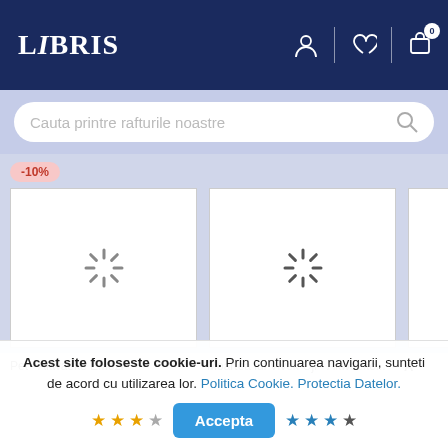LIBRIS - header with user, wishlist, and cart icons
Cauta printre rafturile noastre
-10%
[Figure (screenshot): Two loading product card placeholders with spinner icons, and a partial third card]
Pet - Akwaeke Emezi
Moartea lui Vivek Oji - Akwaeke...
A
Acest site foloseste cookie-uri. Prin continuarea navigarii, sunteti de acord cu utilizarea lor. Politica Cookie. Protectia Datelor.
Accepta